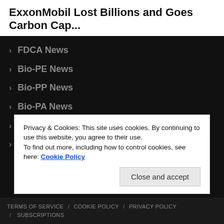ExxonMobil Lost Billions and Goes Carbon Cap...
FDCA News
Bio-PE News
Bio-PP News
Bio-PA News
Bio-PU News
Bio-PET News
Privacy & Cookies: This site uses cookies. By continuing to use this website, you agree to their use.
To find out more, including how to control cookies, see here: Cookie Policy
TERMS OF SERVICE / COOKIE POLICY / PRIVACY POLICY / SUBSCRIPTIONS